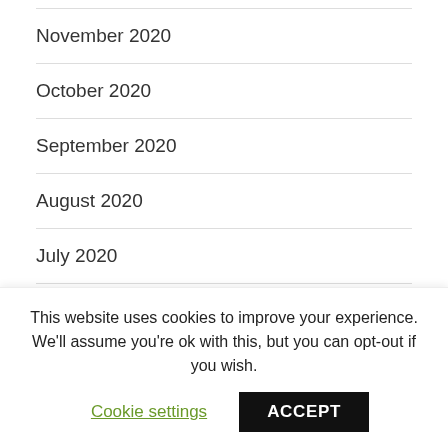November 2020
October 2020
September 2020
August 2020
July 2020
June 2020
This website uses cookies to improve your experience. We'll assume you're ok with this, but you can opt-out if you wish.
Cookie settings
ACCEPT